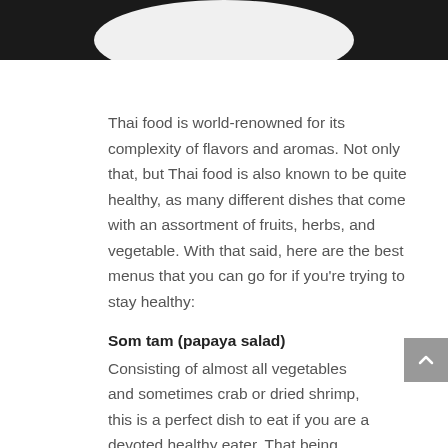[Figure (photo): Top portion of a plate/dish on a dark background, partially cropped at the top of the page]
Thai food is world-renowned for its complexity of flavors and aromas. Not only that, but Thai food is also known to be quite healthy, as many different dishes that come with an assortment of fruits, herbs, and vegetable. With that said, here are the best menus that you can go for if you're trying to stay healthy:
Som tam (papaya salad)
Consisting of almost all vegetables and sometimes crab or dried shrimp, this is a perfect dish to eat if you are a devoted healthy eater. That being said, palm or brown sugar is added to this salad, along with a couple of tablespoons of fish sauce, which can be very high in sodium. If you want to exclude the